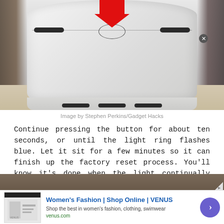[Figure (photo): Close-up photo of a white cylindrical smart speaker device (Amazon Echo) from above, showing a button on top with a red arrow pointing down to it. The device has horizontal seams, black accent strips, and a base with slots. Set on a light-colored surface.]
Image by Stephen Perkins/Gadget Hacks
Continue pressing the button for about ten seconds, or until the light ring flashes blue. Let it sit for a few minutes so it can finish up the factory reset process. You'll know it's done when the light continually flashes blue.
[Figure (photo): Partial view of another device image, cropped at bottom of page]
Women's Fashion | Shop Online | VENUS
Shop the best in women's fashion, clothing, swimwear
venus.com